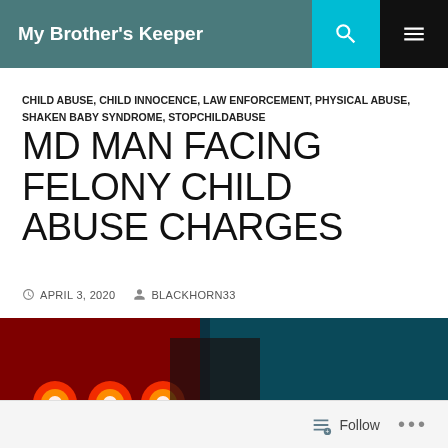My Brother's Keeper
CHILD ABUSE, CHILD INNOCENCE, LAW ENFORCEMENT, PHYSICAL ABUSE, SHAKEN BABY SYNDROME, STOPCHILDABUSE
MD MAN FACING FELONY CHILD ABUSE CHARGES
APRIL 3, 2020   BLACKHORN33
[Figure (photo): Police crime scene photo showing red and cyan emergency lights at night with yellow caution tape reading 'BEAT']
Follow ...